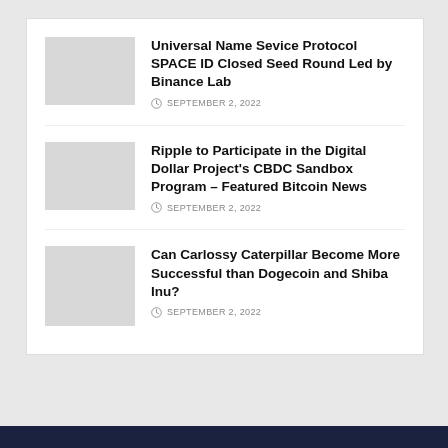Universal Name Sevice Protocol SPACE ID Closed Seed Round Led by Binance Lab
SEPTEMBER 2, 2022
Ripple to Participate in the Digital Dollar Project's CBDC Sandbox Program – Featured Bitcoin News
SEPTEMBER 2, 2022
Can Carlossy Caterpillar Become More Successful than Dogecoin and Shiba Inu?
SEPTEMBER 2, 2022